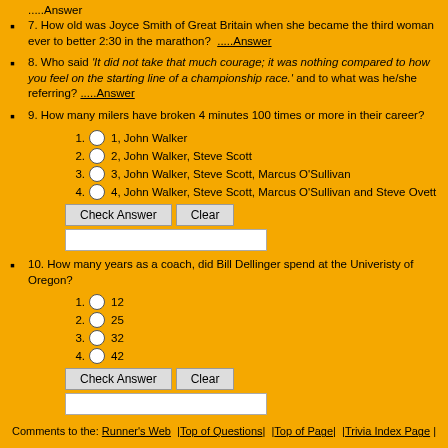(truncated top) .....Answer
7. How old was Joyce Smith of Great Britain when she became the third woman ever to better 2:30 in the marathon? .....Answer
8. Who said 'It did not take that much courage; it was nothing compared to how you feel on the starting line of a championship race.' and to what was he/she referring? .....Answer
9. How many milers have broken 4 minutes 100 times or more in their career? Options: 1. 1, John Walker  2. 2, John Walker, Steve Scott  3. 3, John Walker, Steve Scott, Marcus O'Sullivan  4. 4, John Walker, Steve Scott, Marcus O'Sullivan and Steve Ovett
10. How many years as a coach, did Bill Dellinger spend at the Univeristy of Oregon? Options: 1. 12  2. 25  3. 32  4. 42
Comments to the: Runner's Web  |Top of Questions|  |Top of Page|  |Trivia Index Page |